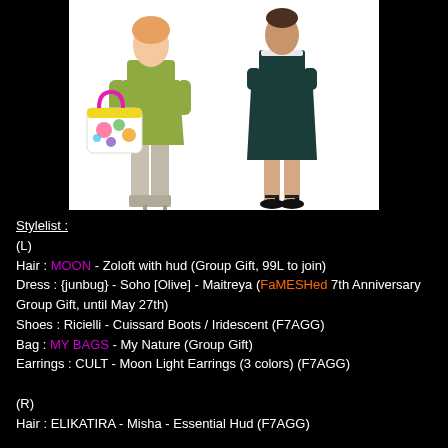[Figure (illustration): Two illustrated fashion figures on white background. Left figure wears olive green dress with white floral bag with pink handles and tall grey boots. Right figure wears dark teal/black midi dress with black heeled sandals.]
Stylelist :
(L)
Hair : MOON - Zoloft with hud (Group Gift, 99L to join)
Dress : {junbug} - Soho [Olive] - Maitreya (FaMESHed 7th Anniversary Group Gift, until May 27th)
Shoes : Ricielli - Cuissard Boots / Iridescent (F7AGG)
Bag : MY BAGS - My Nature (Group Gift)
Earrings : CULT - Moon Light Earrings (3 colors) (F7AGG)

(R)
Hair : ELIKATIRA - Misha - Essential Hud (F7AGG)